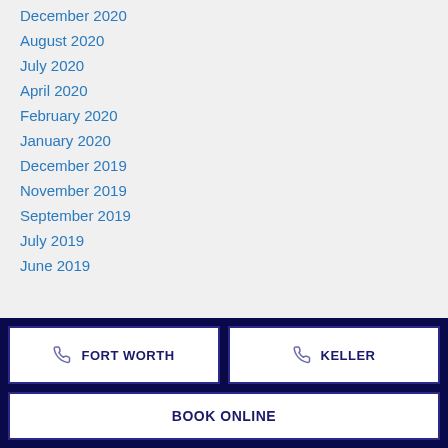December 2020
August 2020
July 2020
April 2020
February 2020
January 2020
December 2019
November 2019
September 2019
July 2019
June 2019
FORT WORTH
KELLER
BOOK ONLINE